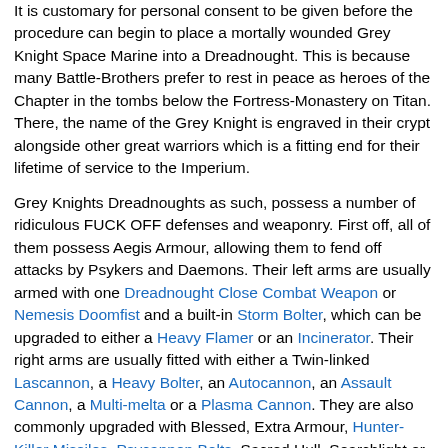It is customary for personal consent to be given before the procedure can begin to place a mortally wounded Grey Knight Space Marine into a Dreadnought. This is because many Battle-Brothers prefer to rest in peace as heroes of the Chapter in the tombs below the Fortress-Monastery on Titan. There, the name of the Grey Knight is engraved in their crypt alongside other great warriors which is a fitting end for their lifetime of service to the Imperium.
Grey Knights Dreadnoughts as such, possess a number of ridiculous FUCK OFF defenses and weaponry. First off, all of them possess Aegis Armour, allowing them to fend off attacks by Psykers and Daemons. Their left arms are usually armed with one Dreadnought Close Combat Weapon or Nemesis Doomfist and a built-in Storm Bolter, which can be upgraded to either a Heavy Flamer or an Incinerator. Their right arms are usually fitted with either a Twin-linked Lascannon, a Heavy Bolter, an Autocannon, an Assault Cannon, a Multi-melta or a Plasma Cannon. They are also commonly upgraded with Blessed, Extra Armour, Hunter-Killer Missiles, Psycannon Bolts, Sacred Hull, Searchlight or Smoke Launchers. For added Rape, they can